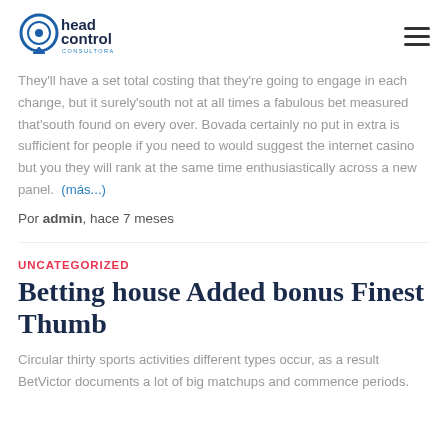head control consultora
They'll have a set total costing that they're going to engage in each change, but it surely'south not at all times a fabulous bet measured that'south found on every over. Bovada certainly no put in extra is sufficient for people if you need to would suggest the internet casino but you they will rank at the same time enthusiastically across a new panel.  (más...)
Por admin, hace 7 meses
UNCATEGORIZED
Betting house Added bonus Finest Thumb
Circular thirty sports activities different types occur, as a result BetVictor documents a lot of big matchups and commence periods.